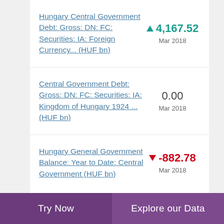Hungary Central Government Debt: Gross: DN: FC: Securities: IA: Foreign Currency... (HUF bn)
▲ 4,167.52
Mar 2018
Central Government Debt: Gross: DN: FC: Securities: IA: Kingdom of Hungary 1924 ... (HUF bn)
0.00
Mar 2018
Hungary General Government Balance: Year to Date: Central Government (HUF bn)
▼ -882.78
Mar 2018
Try Now    Explore our Data